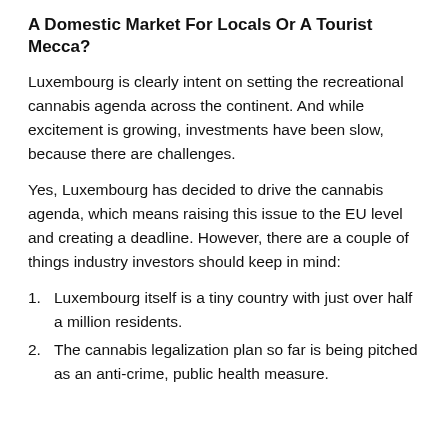A Domestic Market For Locals Or A Tourist Mecca?
Luxembourg is clearly intent on setting the recreational cannabis agenda across the continent. And while excitement is growing, investments have been slow, because there are challenges.
Yes, Luxembourg has decided to drive the cannabis agenda, which means raising this issue to the EU level and creating a deadline. However, there are a couple of things industry investors should keep in mind:
Luxembourg itself is a tiny country with just over half a million residents.
The cannabis legalization plan so far is being pitched as an anti-crime, public health measure.